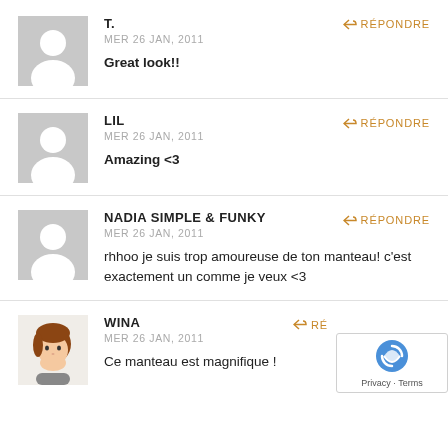[Figure (illustration): Gray default avatar silhouette for user T.]
T.
MER 26 JAN, 2011
Great look!!
[Figure (illustration): Gray default avatar silhouette for user LIL]
LIL
MER 26 JAN, 2011
Amazing <3
[Figure (illustration): Gray default avatar silhouette for user NADIA SIMPLE & FUNKY]
NADIA SIMPLE & FUNKY
MER 26 JAN, 2011
rhhoo je suis trop amoureuse de ton manteau! c'est exactement un comme je veux <3
[Figure (illustration): Cartoon avatar of a person with brown hair for user WINA]
WINA
MER 26 JAN, 2011
Ce manteau est magnifique !